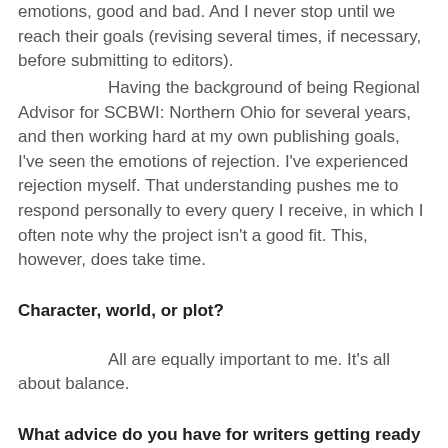emotions, good and bad. And I never stop until we reach their goals (revising several times, if necessary, before submitting to editors).
Having the background of being Regional Advisor for SCBWI: Northern Ohio for several years, and then working hard at my own publishing goals, I've seen the emotions of rejection. I've experienced rejection myself. That understanding pushes me to respond personally to every query I receive, in which I often note why the project isn't a good fit. This, however, does take time.
Character, world, or plot?
All are equally important to me. It's all about balance.
What advice do you have for writers getting ready to query you?
While I wish for a well-crafted query letter, be yourself! Query letters tend to be stiff/ boring. For me (all